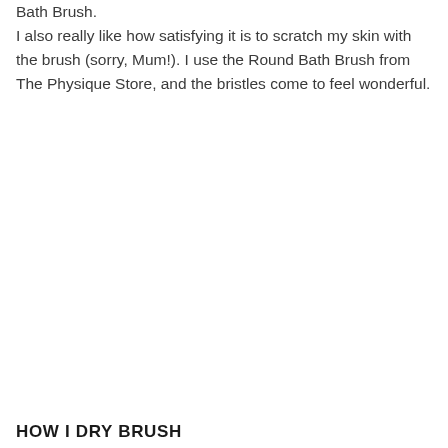Bath Brush.
I also really like how satisfying it is to scratch my skin with the brush (sorry, Mum!). I use the Round Bath Brush from The Physique Store, and the bristles come to feel wonderful.
HOW I DRY BRUSH